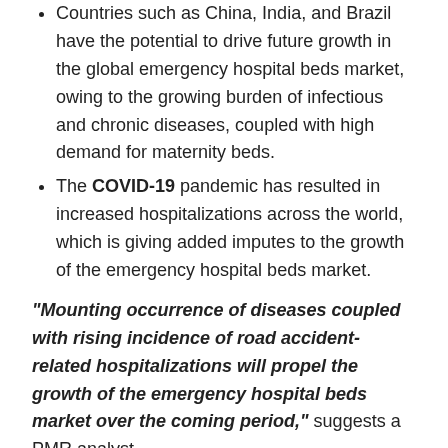Countries such as China, India, and Brazil have the potential to drive future growth in the global emergency hospital beds market, owing to the growing burden of infectious and chronic diseases, coupled with high demand for maternity beds.
The COVID-19 pandemic has resulted in increased hospitalizations across the world, which is giving added imputes to the growth of the emergency hospital beds market.
“Mounting occurrence of diseases coupled with rising incidence of road accident-related hospitalizations will propel the growth of the emergency hospital beds market over the coming period,” suggests a PMR analyst.
How About Knowing The Product/Technology Driving The Emergency Hospital Beds Market Before Investing Therein?